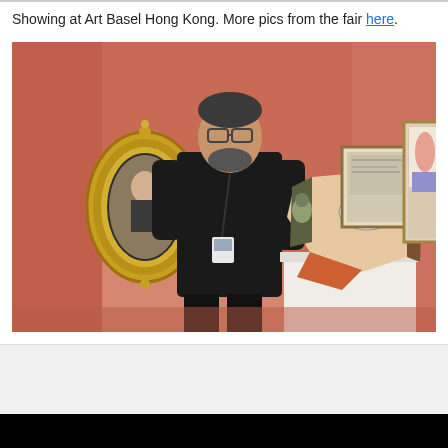Showing at Art Basel Hong Kong. More pics from the fair here.
[Figure (photo): A man with a beard and glasses wearing a black shirt with a lanyard/badge stands in front of a salmon/coral colored wall in an art gallery. Behind him on the left is an ornate gold oval frame containing a portrait painting. To his right is a polyhedral sculptural object on a white pedestal with painted faces/eyes on its facets. On the wall to the right are two framed artworks. The setting is Art Basel Hong Kong.]
sleepboy
Administrator